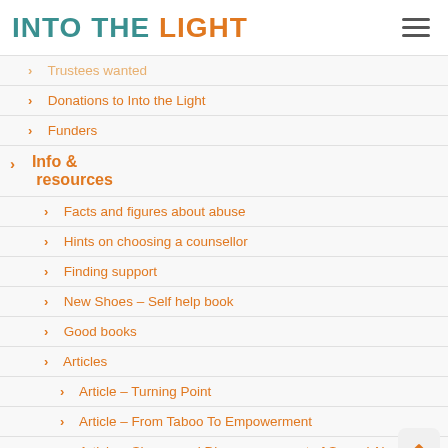INTO THE LIGHT
Trustees wanted
Donations to Into the Light
Funders
Info & resources
Facts and figures about abuse
Hints on choosing a counsellor
Finding support
New Shoes – Self help book
Good books
Articles
Article – Turning Point
Article – From Taboo To Empowerment
Article – Shame and Disempowerment of Sexual Abuse: Times up?